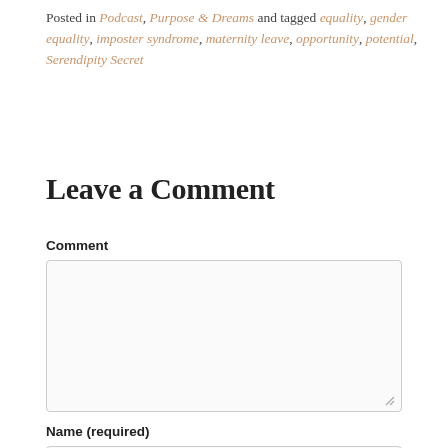Posted in Podcast, Purpose & Dreams and tagged equality, gender equality, imposter syndrome, maternity leave, opportunity, potential, Serendipity Secret
Leave a Comment
Comment
Name (required)